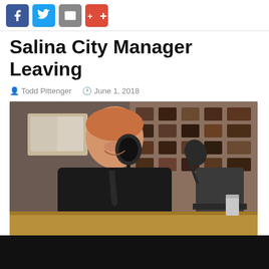[Figure (other): Social media share buttons: Facebook (blue), Twitter (blue), Email (grey), Google+ (red)]
Salina City Manager Leaving
Todd Pittenger   June 1, 2018
[Figure (photo): A smiling man in a dark shirt and tie sitting at a radio studio desk in front of a microphone, with a decorative patterned wall in the background.]
Salina's City Manager is leaving to take similar position in